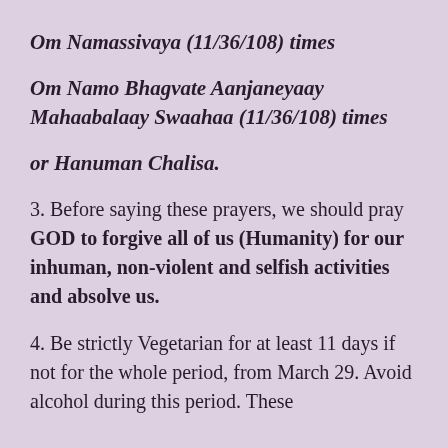Om Namassivaya (11/36/108) times
Om Namo Bhagvate Aanjaneyaay Mahaabalaay Swaahaa (11/36/108) times
or Hanuman Chalisa.
3. Before saying these prayers, we should pray GOD to forgive all of us (Humanity) for our inhuman, non-violent and selfish activities and absolve us.
4. Be strictly Vegetarian for at least 11 days if not for the whole period, from March 29. Avoid alcohol during this period. These